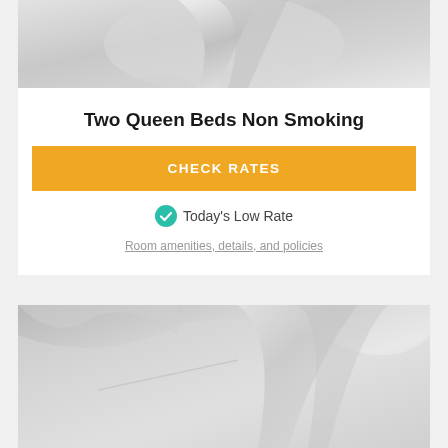[Figure (photo): Close-up photo of white hotel bed pillows and linens, top portion cropped]
Two Queen Beds Non Smoking
CHECK RATES
Today's Low Rate
Room amenities, details, and policies
[Figure (photo): Close-up photo of white hotel bed pillows and linens, bottom portion shown]